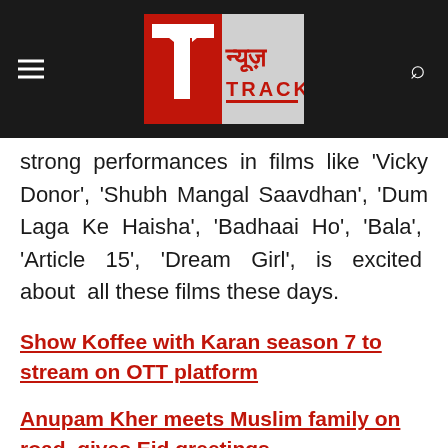News Track
strong performances in films like 'Vicky Donor', 'Shubh Mangal Saavdhan', 'Dum Laga Ke Haisha', 'Badhaai Ho', 'Bala', 'Article 15', 'Dream Girl', is excited about all these films these days.
Show Koffee with Karan season 7 to stream on OTT platform
Anupam Kher meets Muslim family on road, gives Eid greetings
Jhanvi Kapoor seen doom in a green sari, the price will blow your senses